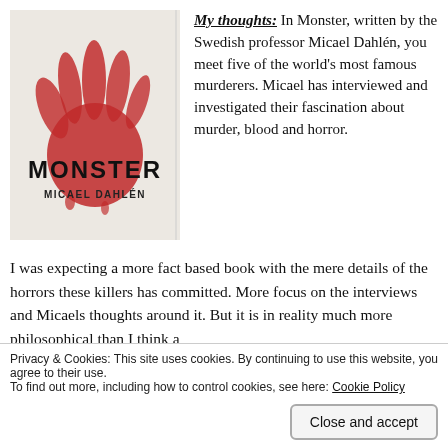[Figure (photo): Book cover of 'Monster' by Micael Dahlén. White cover with large red bloody handprint and the title MONSTER in black letters, author name MICAEL DAHLÉN below.]
My thoughts: In Monster, written by the Swedish professor Micael Dahlén, you meet five of the world's most famous murderers. Micael has interviewed and investigated their fascination about murder, blood and horror.
I was expecting a more fact based book with the mere details of the horrors these killers has committed. More focus on the interviews and Micaels thoughts around it. But it is in reality much more philosophical than I think a
Privacy & Cookies: This site uses cookies. By continuing to use this website, you agree to their use.
To find out more, including how to control cookies, see here: Cookie Policy
Close and accept